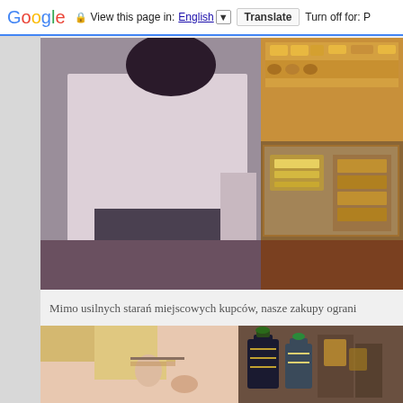Google  View this page in: English [▼]  Translate  Turn off for: P
[Figure (photo): A man in a light pink/white shirt standing in front of a jewelry store display case showing gold necklaces, bracelets and rings on wooden shelves.]
Mimo usilnych starań miejscowych kupców, nasze zakupy ograni
[Figure (photo): Close-up of a blonde woman with decorative bottles and ornate containers visible in the background.]